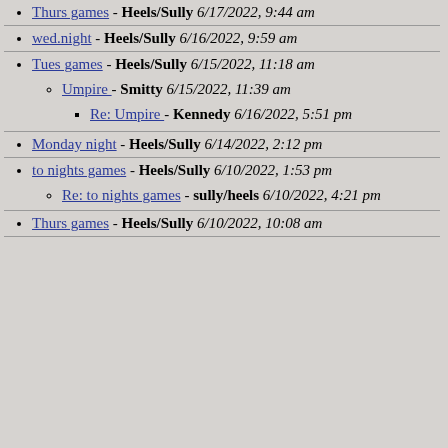Thurs games - Heels/Sully 6/17/2022, 9:44 am
wed.night - Heels/Sully 6/16/2022, 9:59 am
Tues games - Heels/Sully 6/15/2022, 11:18 am
Umpire - Smitty 6/15/2022, 11:39 am
Re: Umpire - Kennedy 6/16/2022, 5:51 pm
Monday night - Heels/Sully 6/14/2022, 2:12 pm
to nights games - Heels/Sully 6/10/2022, 1:53 pm
Re: to nights games - sully/heels 6/10/2022, 4:21 pm
Thurs games - Heels/Sully 6/10/2022, 10:08 am